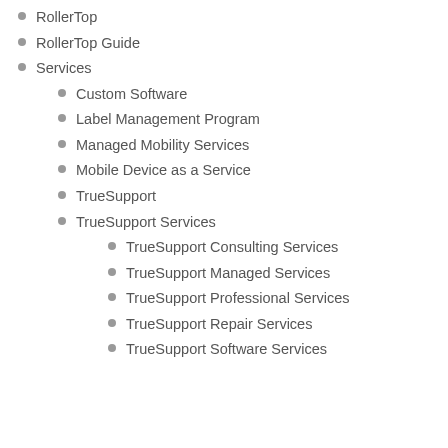RollerTop
RollerTop Guide
Services
Custom Software
Label Management Program
Managed Mobility Services
Mobile Device as a Service
TrueSupport
TrueSupport Services
TrueSupport Consulting Services
TrueSupport Managed Services
TrueSupport Professional Services
TrueSupport Repair Services
TrueSupport Software Services